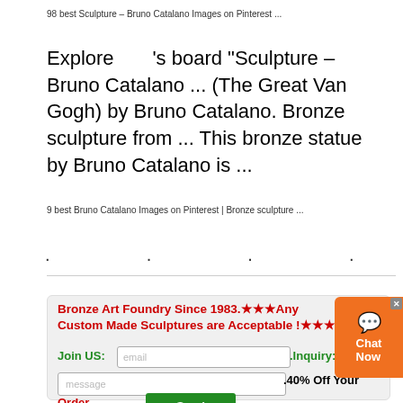98 best Sculpture – Bruno Catalano Images on Pinterest ...
Explore      's board "Sculpture – Bruno Catalano ... (The Great Van Gogh) by Bruno Catalano. Bronze sculpture from ... This bronze statue by Bruno Catalano is ...
9 best Bruno Catalano Images on Pinterest | Bronze sculpture ...
. . . . . .
Bronze Art Foundry Since 1983.★★★Any Custom Made Sculptures are Acceptable !★★★
Join US: email .Inquiry:
message .40% Off Your
Order Send